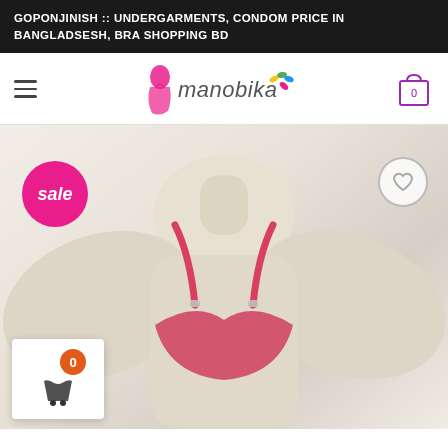GOPONJINISH :: UNDERGARMENTS, CONDOM PRICE IN BANGLADSESH, BRA SHOPPING BD
[Figure (logo): Manobika brand logo with stylized female silhouette in pink and brand name in grey with colorful leaf accent]
[Figure (photo): Product photo of a pink/coral bra displayed on a white mannequin torso, with a pink 'sale' badge on the left, a grey heart wishlist button on the right, and a floating cart widget with orange badge showing 0 in the lower left]